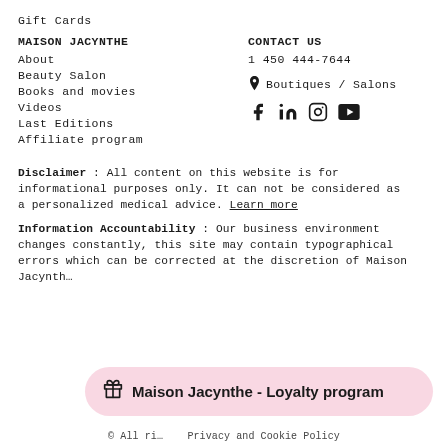Gift Cards
MAISON JACYNTHE
About
Beauty Salon
Books and movies
Videos
Last Editions
Affiliate program
CONTACT US
1 450 444-7644
Boutiques / Salons
[Figure (other): Social media icons: Facebook, LinkedIn, Instagram, YouTube]
Disclaimer : All content on this website is for informational purposes only. It can not be considered as a personalized medical advice. Learn more
Information Accountability : Our business environment changes constantly, this site may contain typographical errors which can be corrected at the discretion of Maison Jacynth...
[Figure (other): Loyalty program popup: 'Do you know that you can earn points to redeem your rewards?' with Maison Jacynthe - Loyalty program button]
© All ri... Privacy and Cookie Policy